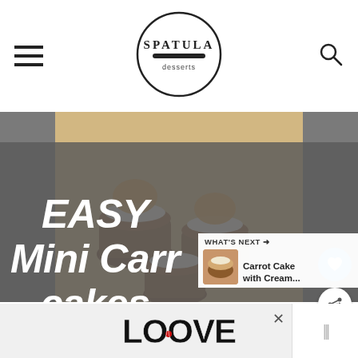Spatula Desserts
[Figure (photo): Mini carrot cakes with cream cheese frosting and caramelized garnish on top, shown on a light background, displayed in a food blog article header]
EASY Mini Carrot cakes
[Figure (photo): What's Next sidebar showing a carrot cake with cream thumbnail and label 'Carrot Cake with Cream...']
[Figure (photo): Advertisement bar at the bottom with LOOVE text artwork and a widget on the right side]